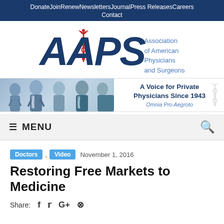Donate  Join  Renew  Newsletters  Journal  Press Releases  Careers  Contact
[Figure (logo): AAPS (Association of American Physicians and Surgeons) logo with red caduceus symbol and blue lettering]
[Figure (photo): Banner photo of smiling doctors and medical professionals with stethoscopes, alongside text 'A Voice for Private Physicians Since 1943' and 'Omnia Pro Aegroto']
☰ MENU
Doctors , Video   November 1, 2016
Restoring Free Markets to Medicine
Share:  f  ♥  G+  ⊕